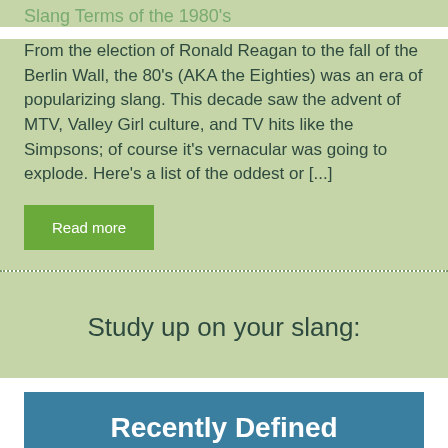Slang Terms of the 1980's
From the election of Ronald Reagan to the fall of the Berlin Wall, the 80's (AKA the Eighties) was an era of popularizing slang. This decade saw the advent of MTV, Valley Girl culture, and TV hits like the Simpsons; of course it's vernacular was going to explode. Here's a list of the oddest or [...]
Read more
Study up on your slang:
Recently Defined